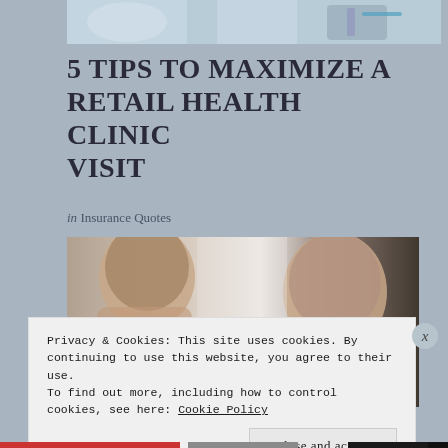[Figure (photo): Top portion of a photo showing medical professional with syringe/stethoscope, partially visible at top of page]
5 TIPS TO MAXIMIZE A RETAIL HEALTH CLINIC VISIT
in Insurance Quotes
[Figure (photo): Two women facing each other — one seen from behind (brown hair), one facing forward (brown hair, makeup) — against a light background, appearing to be at a health clinic]
Privacy & Cookies: This site uses cookies. By continuing to use this website, you agree to their use.
To find out more, including how to control cookies, see here: Cookie Policy
Close and accept